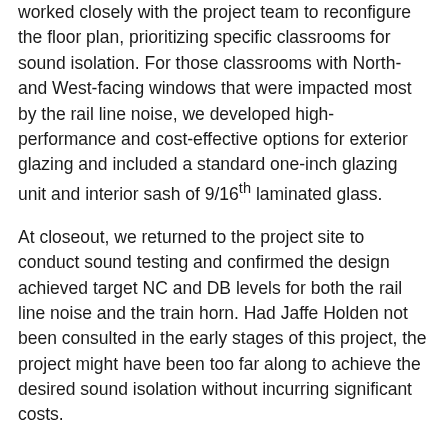worked closely with the project team to reconfigure the floor plan, prioritizing specific classrooms for sound isolation. For those classrooms with North- and West-facing windows that were impacted most by the rail line noise, we developed high-performance and cost-effective options for exterior glazing and included a standard one-inch glazing unit and interior sash of 9/16th laminated glass.
At closeout, we returned to the project site to conduct sound testing and confirmed the design achieved target NC and DB levels for both the rail line noise and the train horn. Had Jaffe Holden not been consulted in the early stages of this project, the project might have been too far along to achieve the desired sound isolation without incurring significant costs.
Ultimately, our work contributed to the overall success of the building and therefore the success of the people who use the space on a daily basis. The cost-conscious sound